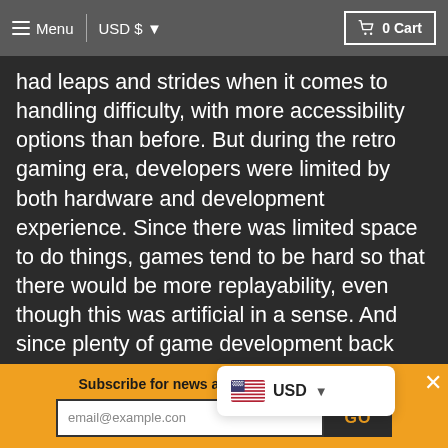Menu  |  USD $  ▾      🛒 0 Cart
had leaps and strides when it comes to handling difficulty, with more accessibility options than before. But during the retro gaming era, developers were limited by both hardware and development experience. Since there was limited space to do things, games tend to be hard so that there would be more replayability, even though this was artificial in a sense. And since plenty of game development back then usually focused on arcade experiences, developers came with the mindset to make games harder to increase penny munching.
Subscribe for news about our latest games!
email@example.com   GO